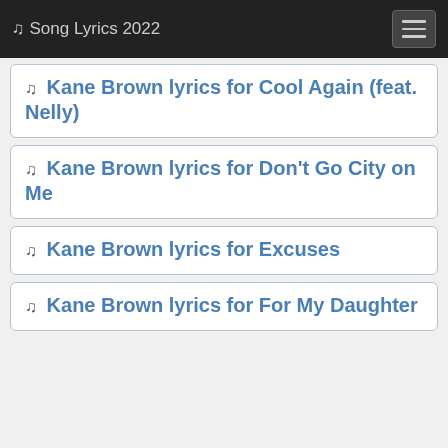🎵 Song Lyrics 2022
🎵 Kane Brown lyrics for Cool Again (feat. Nelly)
🎵 Kane Brown lyrics for Don't Go City on Me
🎵 Kane Brown lyrics for Excuses
🎵 Kane Brown lyrics for For My Daughter